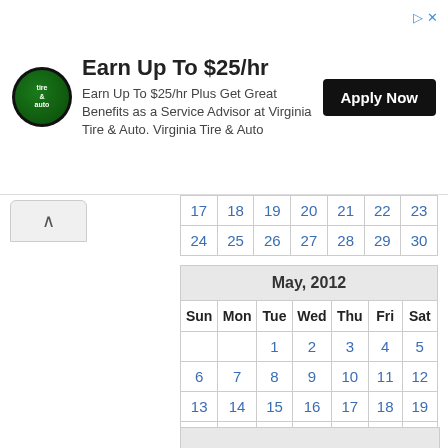[Figure (other): Advertisement banner: Virginia Tire & Auto logo, heading 'Earn Up To $25/hr', body text 'Earn Up To $25/hr Plus Get Great Benefits as a Service Advisor at Virginia Tire & Auto. Virginia Tire & Auto', and 'Apply Now' button.]
| 17 | 18 | 19 | 20 | 21 | 22 | 23 |
| 24 | 25 | 26 | 27 | 28 | 29 | 30 |
| Sun | Mon | Tue | Wed | Thu | Fri | Sat |
| --- | --- | --- | --- | --- | --- | --- |
|  |  | 1 | 2 | 3 | 4 | 5 |
| 6 | 7 | 8 | 9 | 10 | 11 | 12 |
| 13 | 14 | 15 | 16 | 17 | 18 | 19 |
| 20 | 21 | 22 | 23 | 24 | 25 | 26 |
| 27 | 28 | 29 | 30 | 31 |  |  |